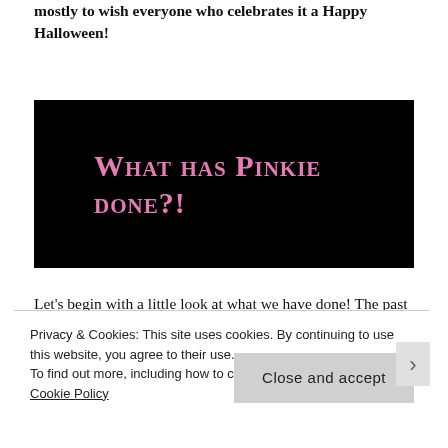mostly to wish everyone who celebrates it a Happy Halloween!
[Figure (illustration): Black background image with pink small-caps text reading 'What has Pinkie done?!']
Let’s begin with a little look at what we have done! The past month everything I did was a bit in the theme of spookiness! We watched weird Horror
Privacy & Cookies: This site uses cookies. By continuing to use this website, you agree to their use.
To find out more, including how to control cookies, see here: Cookie Policy